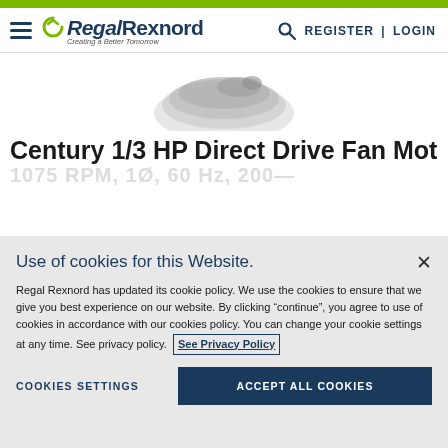Regal Rexnord — Creating a Better Tomorrow — REGISTER | LOGIN
[Figure (photo): Partial view of a Century direct drive fan motor, white/silver, shown from above on white background]
Century 1/3 HP Direct Drive Fan Motor, 1
Use of cookies for this Website.
Regal Rexnord has updated its cookie policy. We use the cookies to ensure that we give you best experience on our website. By clicking "continue", you agree to use of cookies in accordance with our cookies policy. You can change your cookie settings at any time. See privacy policy. See Privacy Policy
COOKIES SETTINGS   ACCEPT ALL COOKIES